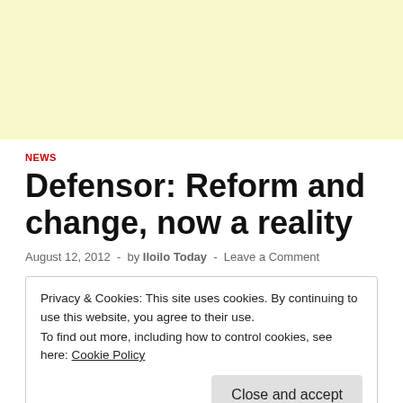NEWS
Defensor: Reform and change, now a reality
August 12, 2012  -  by Iloilo Today  -  Leave a Comment
Privacy & Cookies: This site uses cookies. By continuing to use this website, you agree to their use.
To find out more, including how to control cookies, see here: Cookie Policy
Close and accept